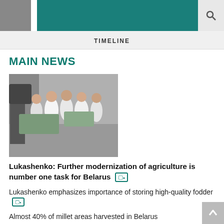[Figure (screenshot): Website header with gray block, teal navigation bar, and search icon]
TIMELINE
MAIN NEWS
[Figure (photo): People in white lab coats and suits visiting a food processing facility]
Lukashenko: Further modernization of agriculture is number one task for Belarus
Lukashenko emphasizes importance of storing high-quality fodder
Almost 40% of millet areas harvested in Belarus
Happy autumn in Minsk World. Everything for health and joy of